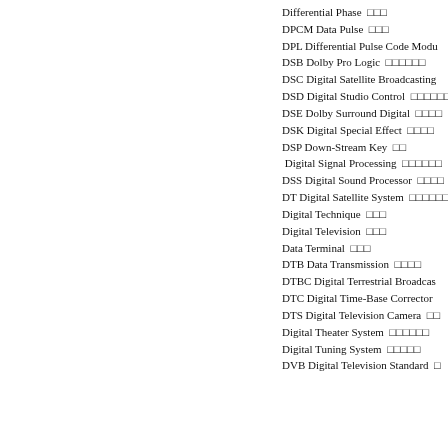Differential Phase  □□□
DPCM Data Pulse  □□□
DPL Differential Pulse Code Modu...
DSB Dolby Pro Logic  □□□□□□
DSC Digital Satellite Broadcasting...
DSD Digital Studio Control  □□□□□□□
DSE Dolby Surround Digital  □□□□
DSK Digital Special Effect  □□□□
DSP Down-Stream Key  □□
Digital Signal Processing  □□□□□□
DSS Digital Sound Processor  □□□□
DT Digital Satellite System  □□□□□□
Digital Technique  □□□
Digital Television  □□□
Data Terminal  □□□
DTB Data Transmission  □□□□
DTBC Digital Terrestrial Broadcas...
DTC Digital Time-Base Corrector
DTS Digital Television Camera  □□...
Digital Theater System  □□□□□□
Digital Tuning System  □□□□□
DVB Digital Television Standard  □...